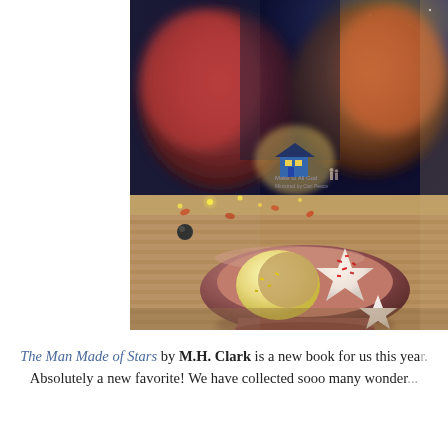[Figure (photo): A photograph showing star and moon shaped sugar cookies in a rustic bowl, with a children's book in the background featuring a glowing house under colorful trees at night, fairy lights scattered around, warm cozy atmosphere.]
The Man Made of Stars by M.H. Clark is a new book for us this year. Absolutely a new favorite! We have collected sooo many wonder... And we can't get a few for your... Alw...